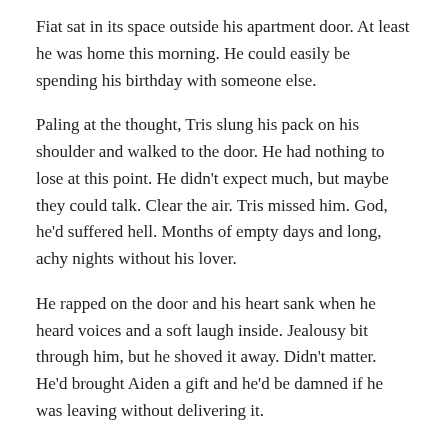Fiat sat in its space outside his apartment door. At least he was home this morning. He could easily be spending his birthday with someone else.
Paling at the thought, Tris slung his pack on his shoulder and walked to the door. He had nothing to lose at this point. He didn't expect much, but maybe they could talk. Clear the air. Tris missed him. God, he'd suffered hell. Months of empty days and long, achy nights without his lover.
He rapped on the door and his heart sank when he heard voices and a soft laugh inside. Jealousy bit through him, but he shoved it away. Didn't matter. He'd brought Aiden a gift and he'd be damned if he was leaving without delivering it.